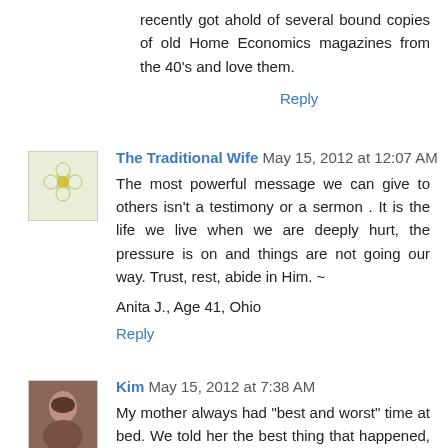recently got ahold of several bound copies of old Home Economics magazines from the 40's and love them.
Reply
The Traditional Wife  May 15, 2012 at 12:07 AM
The most powerful message we can give to others isn't a testimony or a sermon . It is the life we live when we are deeply hurt, the pressure is on and things are not going our way. Trust, rest, abide in Him. ~
Anita J., Age 41, Ohio
Reply
Kim  May 15, 2012 at 7:38 AM
My mother always had "best and worst" time at bed. We told her the best thing that happened, and how it made us feel. Then we told her the worst thing that happened (no matter how trivial). It was a good way to learn to solve problems and how to forgive others. Something simple, but